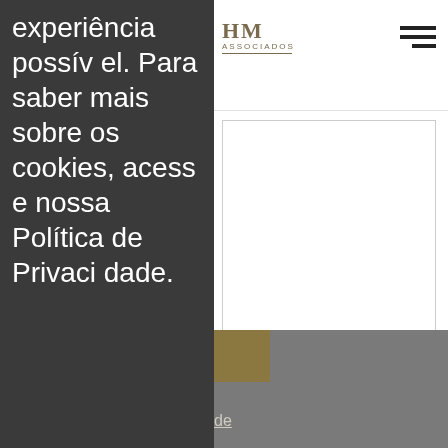[Figure (logo): HM Associados law firm logo with decorative line underneath]
[Figure (other): Hamburger menu icon with three horizontal lines]
experiência possível. Para saber mais sobre os cookies, acesse nossa Política de Privacidade.
[Figure (other): Textarea input box with resize handle]
[Figure (other): SEND button with border]
Entendi
Politica de Privacidade